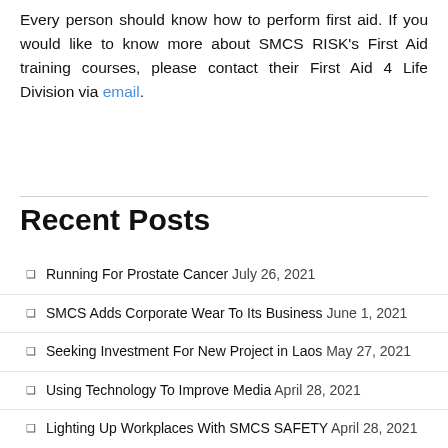Every person should know how to perform first aid. If you would like to know more about SMCS RISK's First Aid training courses, please contact their First Aid 4 Life Division via email.
Recent Posts
Running For Prostate Cancer July 26, 2021
SMCS Adds Corporate Wear To Its Business June 1, 2021
Seeking Investment For New Project in Laos May 27, 2021
Using Technology To Improve Media April 28, 2021
Lighting Up Workplaces With SMCS SAFETY April 28, 2021